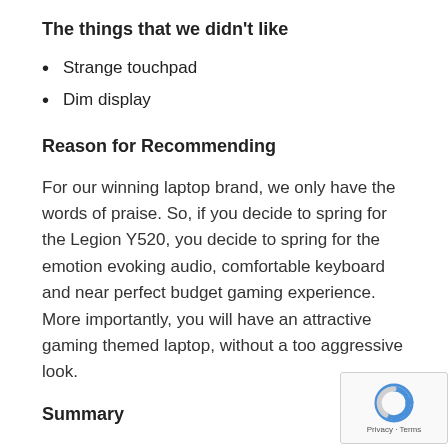The things that we didn't like
Strange touchpad
Dim display
Reason for Recommending
For our winning laptop brand, we only have the words of praise. So, if you decide to spring for the Legion Y520, you decide to spring for the emotion evoking audio, comfortable keyboard and near perfect budget gaming experience. More importantly, you will have an attractive gaming themed laptop, without a too aggressive look.
Summary